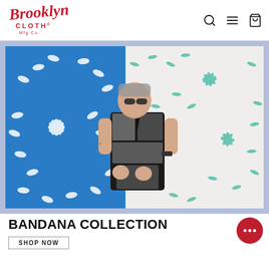[Figure (logo): Brooklyn Cloth Mfg Co red script logo]
[Figure (photo): Young man wearing a black and white bandana patterned short-sleeve shirt, standing in front of a colorful patterned wall (blue and white on left, teal and white on right), wearing sunglasses]
BANDANA COLLECTION
SHOP NOW